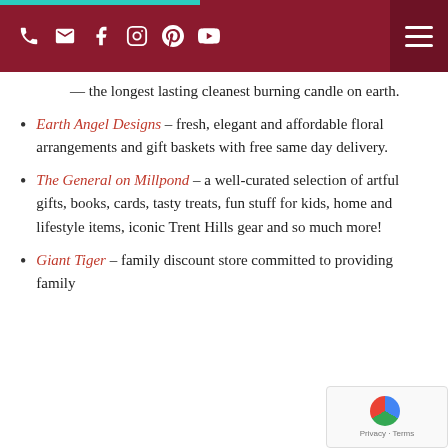[navigation bar with phone, email, facebook, instagram, pinterest, youtube icons and hamburger menu]
— the longest lasting cleanest burning candle on earth.
Earth Angel Designs – fresh, elegant and affordable floral arrangements and gift baskets with free same day delivery.
The General on Millpond – a well-curated selection of artful gifts, books, cards, tasty treats, fun stuff for kids, home and lifestyle items, iconic Trent Hills gear and so much more!
Giant Tiger – family discount store committed to providing family